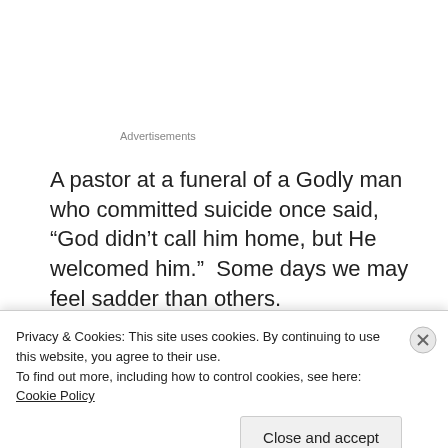Advertisements
A pastor at a funeral of a Godly man who committed suicide once said, “God didn’t call him home, but He welcomed him.”  Some days we may feel sadder than others.
Questions still arise.  Does the hurt ever really go away?  No, we do adjust to it.  We wish Jamie would have had a
Privacy & Cookies: This site uses cookies. By continuing to use this website, you agree to their use.
To find out more, including how to control cookies, see here: Cookie Policy
Close and accept